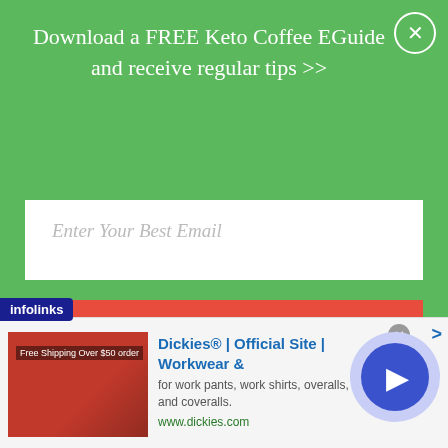[Figure (screenshot): Green popup overlay with email opt-in form. Title: 'Download a FREE Keto Coffee EGuide and receive regular tips >>'. White email input box with placeholder 'Enter Your Best Email'. Red DOWNLOAD button. Close X button top right.]
calls for Baileys Irish cream, which is loaded with carbs, but this Irish coffee recipe uses a low carb Irish whiskey.
Related reading: 5 Amazing Health Benefits of a
[Figure (screenshot): Infolinks ad bar at bottom. Ad for Dickies® | Official Site | Workwear & with subtitle 'for work pants, work shirts, overalls, and coveralls.' URL: www.dickies.com. Image of brown leather seating on left. Blue play button circle on right.]